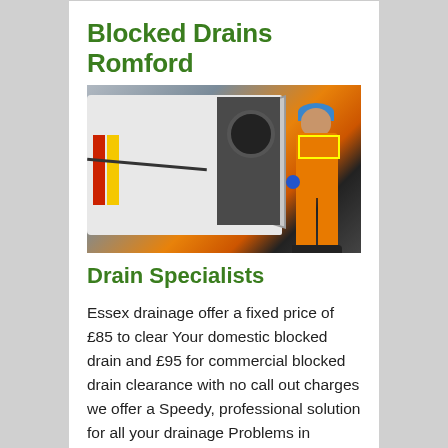Blocked Drains Romford
[Figure (photo): A drain specialist worker in orange hi-vis suit and blue gloves using a high-pressure hose next to a white service van with open rear doors showing drain clearing equipment.]
Drain Specialists
Essex drainage offer a fixed price of £85 to clear Your domestic blocked drain and £95 for commercial blocked drain clearance with no call out charges we offer a Speedy, professional solution for all your drainage Problems in romford